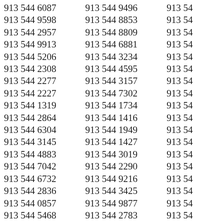913 544 6087
913 544 9598
913 544 2957
913 544 9913
913 544 5206
913 544 2308
913 544 2277
913 544 2227
913 544 1319
913 544 2864
913 544 6304
913 544 3145
913 544 4883
913 544 7042
913 544 6732
913 544 2836
913 544 0857
913 544 5468
913 544 4323
913 544 3318
913 544 0552
913 544 9496
913 544 8853
913 544 8809
913 544 6881
913 544 3234
913 544 4595
913 544 3157
913 544 7302
913 544 1734
913 544 1416
913 544 1949
913 544 1427
913 544 3019
913 544 2290
913 544 9216
913 544 3425
913 544 9877
913 544 2783
913 544 1320
913 544 8961
913 544 7944
913 54…
913 54…
913 54…
913 54…
913 54…
913 54…
913 54…
913 54…
913 54…
913 54…
913 54…
913 54…
913 54…
913 54…
913 54…
913 54…
913 54…
913 54…
913 54…
913 54…
913 54…